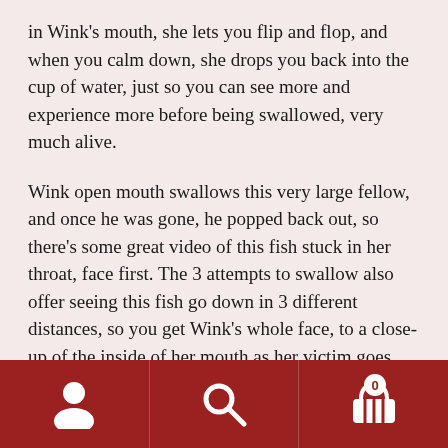in Wink's mouth, she lets you flip and flop, and when you calm down, she drops you back into the cup of water, just so you can see more and experience more before being swallowed, very much alive.
Wink open mouth swallows this very large fellow, and once he was gone, he popped back out, so there's some great video of this fish stuck in her throat, face first. The 3 attempts to swallow also offer seeing this fish go down in 3 different distances, so you get Wink's whole face, to a close-up of the inside of her mouth as her victim goes down.
Good Burp!
[navigation bar with account, search, and cart icons]